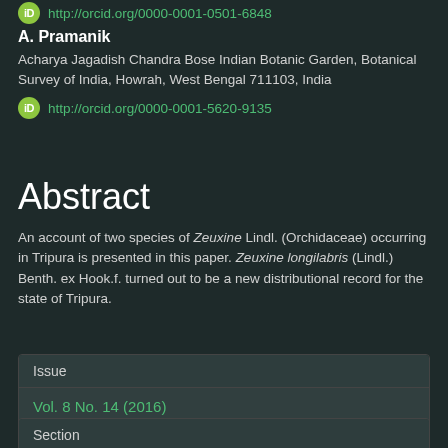http://orcid.org/0000-0001-0501-6848
A. Pramanik
Acharya Jagadish Chandra Bose Indian Botanic Garden, Botanical Survey of India, Howrah, West Bengal 711103, India
http://orcid.org/0000-0001-5620-9135
Abstract
An account of two species of Zeuxine Lindl. (Orchidaceae) occurring in Tripura is presented in this paper. Zeuxine longilabris (Lindl.) Benth. ex Hook.f. turned out to be a new distributional record for the state of Tripura.
| Issue |
| --- |
| Vol. 8 No. 14 (2016) |
| Section |
| --- |
|  |